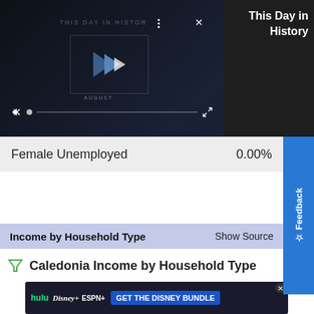[Figure (screenshot): Video player showing 'This Day in History' with play button, mute icon, progress bar, fullscreen icon, and three-dot menu. Right panel shows 'This Day in History' text on dark background.]
This Day in History
| Label | Value |
| --- | --- |
| Female Unemployed | 0.00% |
Feedback
Income by Household Type
Show Source
Caledonia Income by Household Type
[Figure (screenshot): Advertisement banner for Disney Bundle featuring Hulu, Disney+, and ESPN+ logos with 'GET THE DISNEY BUNDLE' button. Sub-text: 'Incl. Hulu (ad-supported) or Hulu (No Ads). Access content from each service separately. ©2021 Disney and its related entities']